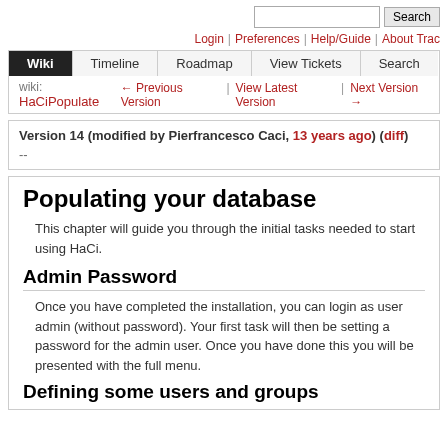Search | Login | Preferences | Help/Guide | About Trac | Wiki | Timeline | Roadmap | View Tickets | Search
wiki: HaCiPopulate ← Previous Version | View Latest Version | Next Version →
Version 14 (modified by Pierfrancesco Caci, 13 years ago) (diff)
--
Populating your database
This chapter will guide you through the initial tasks needed to start using HaCi.
Admin Password
Once you have completed the installation, you can login as user admin (without password). Your first task will then be setting a password for the admin user. Once you have done this you will be presented with the full menu.
Defining some users and groups